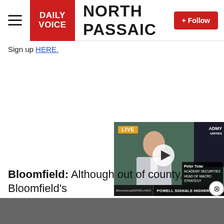NORTH PASSAIC — Daily Voice
Sign up HERE.
[Figure (screenshot): Bloomberg TV video player overlay showing a man in a suit with LIVE badge, play button, lower third with 'Peter Tokar / Academy Securities / Head of Macro Strategy', and ticker 'POWELL SIGNALS HIGHER-FOR-LONGER RATES'. There is also a close (X) button.]
Bloomfield: Although out of county, Bloomfield's